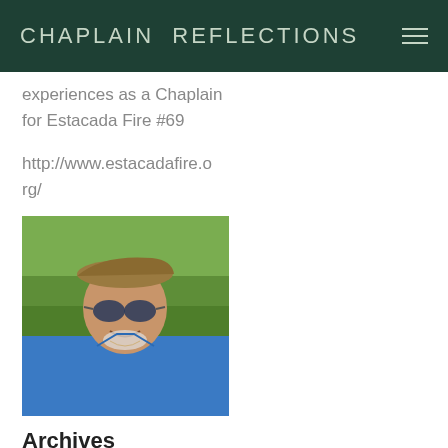CHAPLAIN REFLECTIONS
experiences as a Chaplain for Estacada Fire #69
http://www.estacadafire.org/
[Figure (photo): Portrait photo of a middle-aged man wearing a tan flat cap and round sunglasses, smiling, wearing a blue polo shirt, with a grassy green field in the background.]
Archives